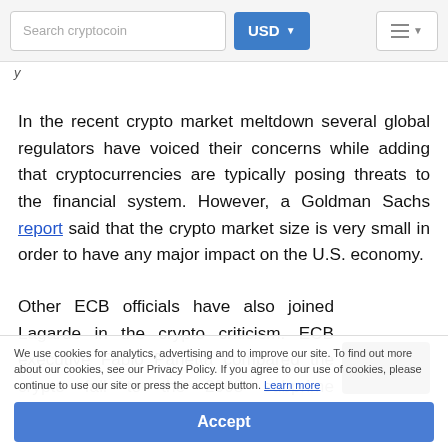Search cryptocoin | USD | menu
y
In the recent crypto market meltdown several global regulators have voiced their concerns while adding that cryptocurrencies are typically posing threats to the financial system. However, a Goldman Sachs report said that the crypto market size is very small in order to have any major impact on the U.S. economy.
Other ECB officials have also joined Lagarde in the crypto criticism. ECB executive Fabio Panetta compared the crypto fall to the 2008 subprime mortgage crisis.
[Figure (illustration): VR/binoculars icon in dark background]
We use cookies for analytics, advertising and to improve our site. To find out more about our cookies, see our Privacy Policy. If you agree to our use of cookies, please continue to use our site or press the accept button. Learn more